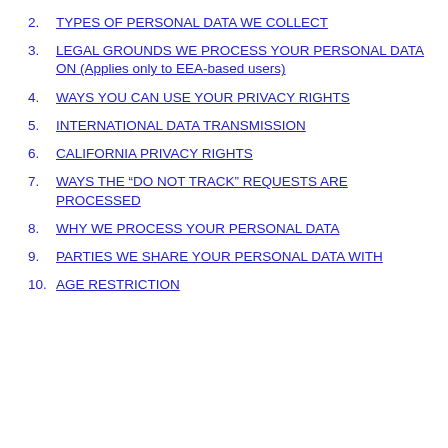2. TYPES OF PERSONAL DATA WE COLLECT
3. LEGAL GROUNDS WE PROCESS YOUR PERSONAL DATA ON (Applies only to EEA-based users)
4. WAYS YOU CAN USE YOUR PRIVACY RIGHTS
5. INTERNATIONAL DATA TRANSMISSION
6. CALIFORNIA PRIVACY RIGHTS
7. WAYS THE “DO NOT TRACK” REQUESTS ARE PROCESSED
8. WHY WE PROCESS YOUR PERSONAL DATA
9. PARTIES WE SHARE YOUR PERSONAL DATA WITH
10. AGE RESTRICTION